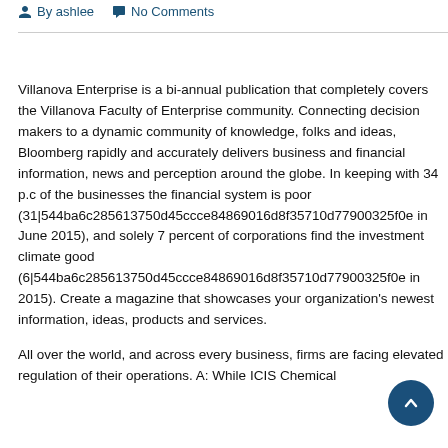By ashlee   No Comments
Villanova Enterprise is a bi-annual publication that completely covers the Villanova Faculty of Enterprise community. Connecting decision makers to a dynamic community of knowledge, folks and ideas, Bloomberg rapidly and accurately delivers business and financial information, news and perception around the globe. In keeping with 34 p.c of the businesses the financial system is poor (31|544ba6c285613750d45ccce84869016d8f35710d77900325f0e in June 2015), and solely 7 percent of corporations find the investment climate good (6|544ba6c285613750d45ccce84869016d8f35710d77900325f0e in 2015). Create a magazine that showcases your organization's newest information, ideas, products and services.
All over the world, and across every business, firms are facing elevated regulation of their operations. A: While ICIS Chemical